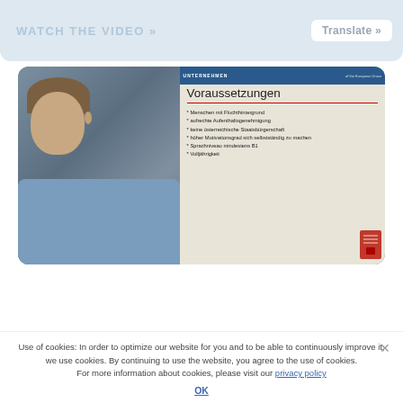[Figure (screenshot): Website UI showing a 'WATCH THE VIDEO »' button on a light blue banner, and a 'Translate »' button in the top right corner.]
[Figure (photo): Video thumbnail showing a woman sitting in front of a projected presentation slide titled 'Voraussetzungen' with bullet points in German about requirements for refugees.]
Use of cookies: In order to optimize our website for you and to be able to continuously improve it, we use cookies. By continuing to use the website, you agree to the use of cookies. For more information about cookies, please visit our privacy policy
OK